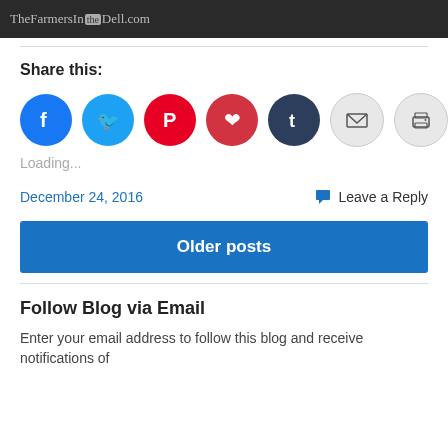[Figure (screenshot): Dark banner with TheFarmersIn the Dell.com text]
Share this:
[Figure (infographic): Social sharing icons: Facebook (blue), Twitter (cyan), Pinterest (red), Pocket (red), Tumblr (dark navy), Email (gray), Print (gray)]
Loading...
December 24, 2016
Leave a Reply
Older posts
Follow Blog via Email
Enter your email address to follow this blog and receive notifications of